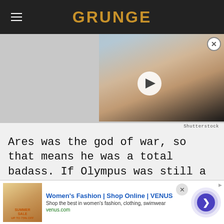GRUNGE
[Figure (photo): Video thumbnail showing a man with glasses smiling, with a play button overlay. Shutterstock watermark visible.]
Shutterstock
Ares was the god of war, so that means he was a total badass. If Olympus was still a thing, Ares would ride missiles and surf on nuclear submarines, and instead of
[Figure (screenshot): Advertisement banner: Women's Fashion | Shop Online | VENUS. Shop the best in women's fashion, clothing, swimwear. venus.com]